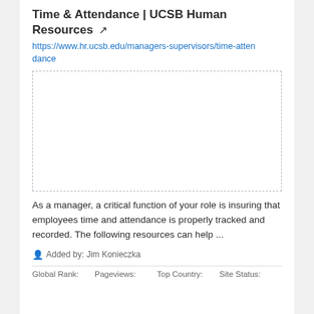Time & Attendance | UCSB Human Resources ↗
https://www.hr.ucsb.edu/managers-supervisors/time-attendance
[Figure (screenshot): Empty dashed-border preview box of the linked webpage]
As a manager, a critical function of your role is insuring that employees time and attendance is properly tracked and recorded. The following resources can help ...
Added by: Jim Konieczka
Global Rank:    Pageviews:    Top Country:    Site Status: